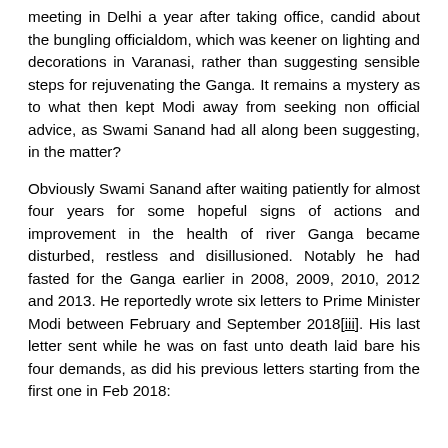meeting in Delhi a year after taking office, candid about the bungling officialdom, which was keener on lighting and decorations in Varanasi, rather than suggesting sensible steps for rejuvenating the Ganga. It remains a mystery as to what then kept Modi away from seeking non official advice, as Swami Sanand had all along been suggesting, in the matter?
Obviously Swami Sanand after waiting patiently for almost four years for some hopeful signs of actions and improvement in the health of river Ganga became disturbed, restless and disillusioned. Notably he had fasted for the Ganga earlier in 2008, 2009, 2010, 2012 and 2013. He reportedly wrote six letters to Prime Minister Modi between February and September 2018[iii]. His last letter sent while he was on fast unto death laid bare his four demands, as did his previous letters starting from the first one in Feb 2018: